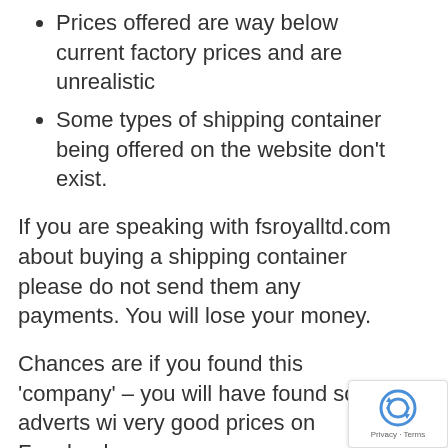Prices offered are way below current factory prices and are unrealistic
Some types of shipping container being offered on the website don’t exist.
If you are speaking with fsroyalltd.com about buying a shipping container please do not send them any payments. You will lose your money.
Chances are if you found this ‘company’ – you will have found some adverts wi very good prices on Facebook